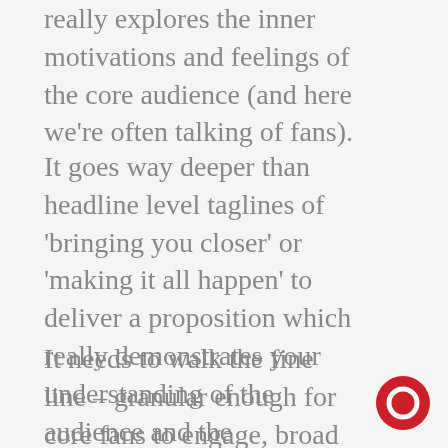really explores the inner motivations and feelings of the core audience (and here we're often talking of fans).
It goes way deeper than headline level taglines of 'bringing you closer' or 'making it all happen' to deliver a proposition which really demonstrates your understanding of the audience and the relationship they hold with their passion point.
It needs to walk the fine line – granular enough for core fans to engage, broad enough to feel accessible. Without insight, who
[Figure (other): Red circle icon with a white ring/eye shape in the center, positioned in bottom-right corner]